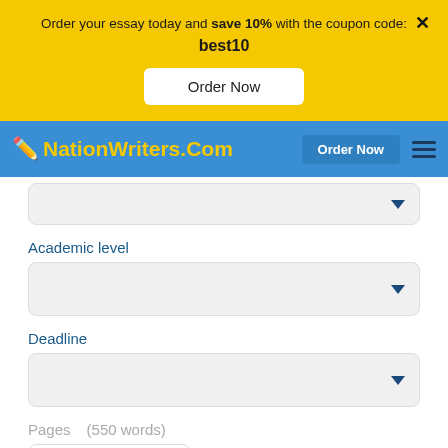Order your essay today and save 10% with the coupon code: best10
Order Now
[Figure (screenshot): NationWriters.Com website navigation bar with logo and Order Now button]
Academic level
Deadline
Pages   (550 words)
- 2 +